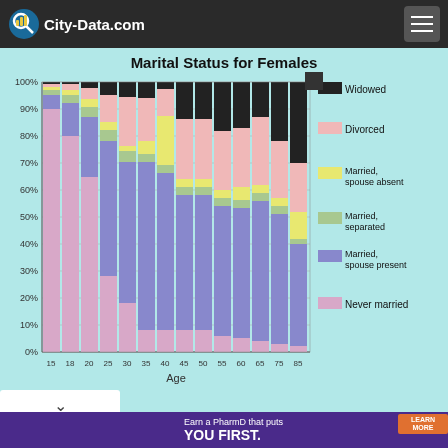City-Data.com
[Figure (stacked-bar-chart): Marital Status for Females]
[Figure (infographic): Advertisement banner for High Point University PharmD program: 'Earn a PharmD that puts YOU FIRST. LEARN MORE. HIGH POINT UNIVERSITY']